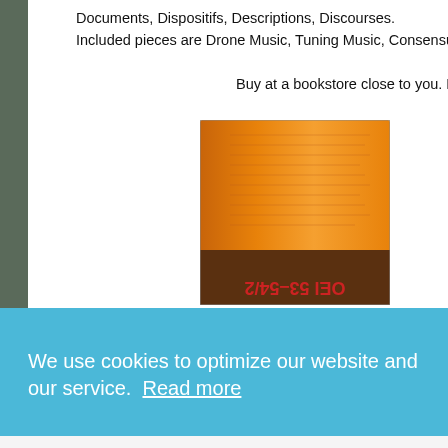Documents, Dispositifs, Descriptions, Discourses.
Included pieces are Drone Music, Tuning Music, Consensus Music and Di
Buy at a bookstore close to you. Read more at www.oei
[Figure (photo): Photo of an orange book spine showing 'OEI 53-54/2' text in red, with pages fanned open showing text content.]
We use cookies to optimize our website and our service.  Read more
Functional only
All cookies
Performance of Songs of Insanity at Annan Musik.